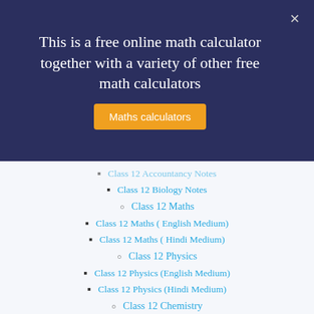This is a free online math calculator together with a variety of other free math calculators
Maths calculators
Class 12 Biology Notes
Class 12 Maths
Class 12 Maths ( English Medium)
Class 12 Maths ( Hindi Medium)
Class 12 Physics
Class 12 Physics (English Medium)
Class 12 Physics (Hindi Medium)
Class 12 Chemistry
Class 12 Chemistry ( Hindi Medium)
Class 12 Chemistry ( English Medium)
Class 12 Biology
Class 12 Biology ( English Medium)
Class 12 Biology ( Hindi Medium)
Class 12 Geography (Hindi Medium)
Class 12 History (Hindi Medium)
NCERT Class 12 Accountancy